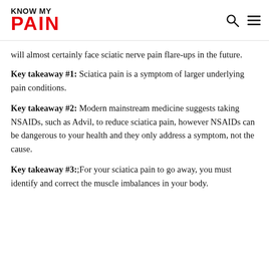KNOW MY PAIN
will almost certainly face sciatic nerve pain flare-ups in the future.
Key takeaway #1: Sciatica pain is a symptom of larger underlying pain conditions.
Key takeaway #2: Modern mainstream medicine suggests taking NSAIDs, such as Advil, to reduce sciatica pain, however NSAIDs can be dangerous to your health and they only address a symptom, not the cause.
Key takeaway #3:; For your sciatica pain to go away, you must identify and correct the muscle imbalances in your body.